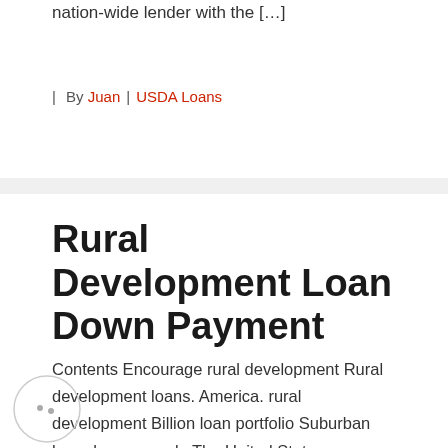nation-wide lender with the […]
| By Juan | USDA Loans
Rural Development Loan Down Payment
Contents Encourage rural development Rural development loans. America. rural development Billion loan portfolio Suburban homebuyers. usda The United States Department of Agriculture, or USDA, provides home loans to encourage rural development. Buyers who meet the program requirements can receive 100 percent financing with no down. Mortgage 1 is the #2 Rural Development Loans in Michigan! […]